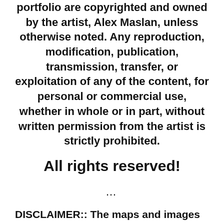portfolio are copyrighted and owned by the artist, Alex Maslan, unless otherwise noted. Any reproduction, modification, publication, transmission, transfer, or exploitation of any of the content, for personal or commercial use, whether in whole or in part, without written permission from the artist is strictly prohibited.
All rights reserved!
...
DISCLAIMER:: The maps and images on this site are not intended for navigation, I am not a guide; use any and all information at your own risk! Your mileage may vary .. so use good judgement before venturing out!
With that said